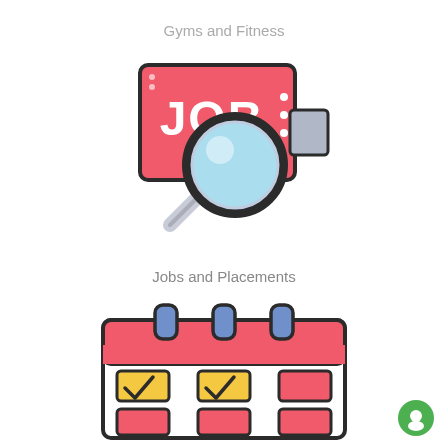Gyms and Fitness
[Figure (illustration): Job search icon: red square sign with 'JOB' text in white, overlaid by a magnifying glass with light blue lens, and a small gray tag on the right side.]
Jobs and Placements
[Figure (illustration): Calendar icon: red header with three blue ring binders at top, white body with a 3x2 grid of date squares — two yellow checked boxes in first row, one red box; two red boxes in second row bottom with one empty.]